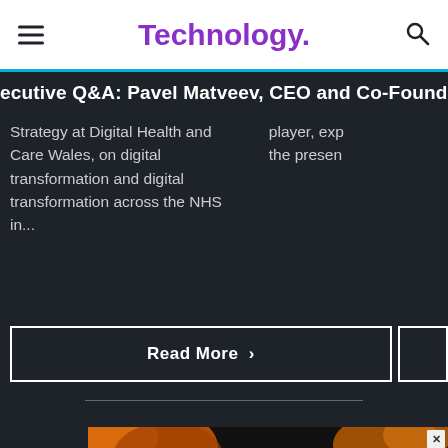Technology.
ecutive Q&A: Pavel Matveev, CEO and Co-Founder of Wirex
Strategy at Digital Health and Care Wales, on digital transformation and digital transformation across the NHS in...
player, exp the presen
Read More >
[Figure (infographic): Advertisement banner for Sustainability Live London event, with orange and black background, bold italic white text reading SUSTAINABILITY LIVE with LONDON underneath in spaced capitals.]